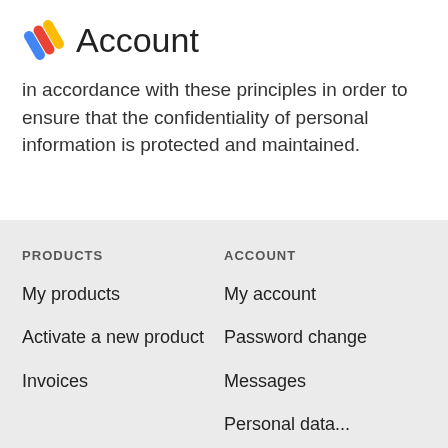Account
in accordance with these principles in order to ensure that the confidentiality of personal information is protected and maintained.
PRODUCTS
ACCOUNT
My products
My account
Activate a new product
Password change
Invoices
Messages
Personal data...